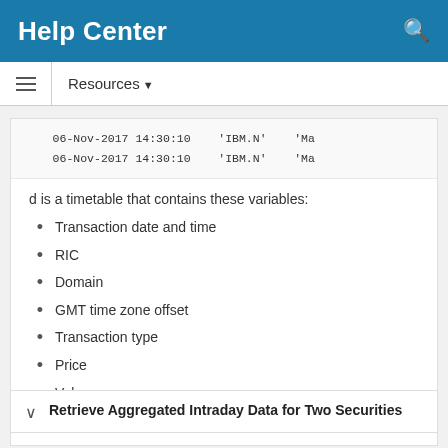Help Center
Resources ▼
06-Nov-2017 14:30:10    'IBM.N'    'Ma
06-Nov-2017 14:30:10    'IBM.N'    'Ma
d is a timetable that contains these variables:
Transaction date and time
RIC
Domain
GMT time zone offset
Transaction type
Price
Volume
Exchange time
Retrieve Aggregated Intraday Data for Two Securities